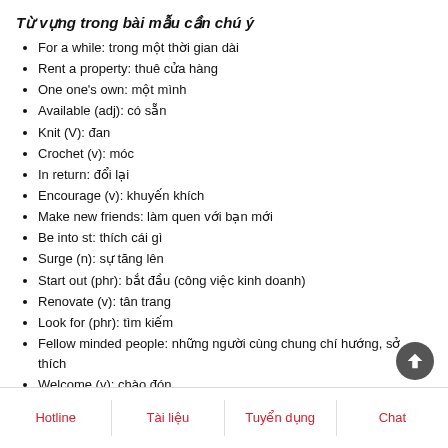Từ vựng trong bài mẫu cần chú ý
For a while: trong một thời gian dài
Rent a property: thuê cửa hàng
One one's own: một mình
Available (adj): có sẵn
Knit (V): đan
Crochet (v): móc
In return: đổi lại
Encourage (v): khuyến khích
Make new friends: làm quen với bạn mới
Be into st: thích cái gì
Surge (n): sự tăng lên
Start out (phr): bắt đầu (công việc kinh doanh)
Renovate (v): tân trang
Look for (phr): tìm kiếm
Fellow minded people: những người cùng chung chí hướng, sở thích
Welcome (v): chào đón
Hotline | Tài liệu | Tuyển dụng | Chat